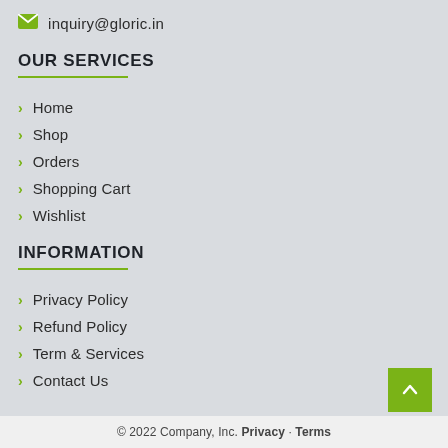inquiry@gloric.in
OUR SERVICES
Home
Shop
Orders
Shopping Cart
Wishlist
INFORMATION
Privacy Policy
Refund Policy
Term & Services
Contact Us
© 2022 Company, Inc. Privacy · Terms